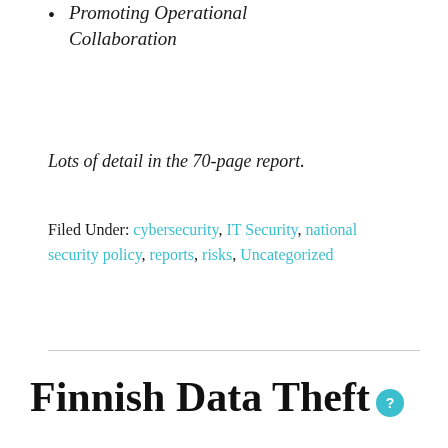Promoting Operational Collaboration
Lots of detail in the 70-page report.
Filed Under: cybersecurity, IT Security, national security policy, reports, risks, Uncategorized
Finnish Data Theft